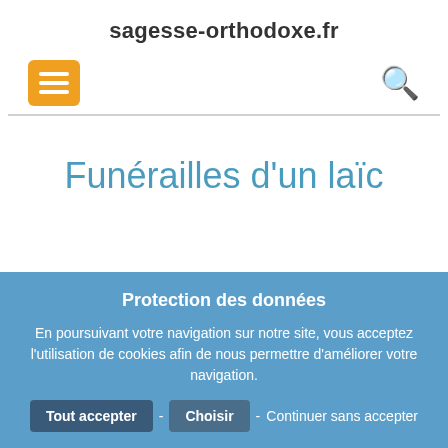sagesse-orthodoxe.fr
Funérailles d'un laïc
Protection des données
En poursuivant votre navigation sur notre site, vous acceptez l'utilisation de cookies afin de nous permettre d'améliorer votre navigation.
Tout accepter - Choisir - Continuer sans accepter